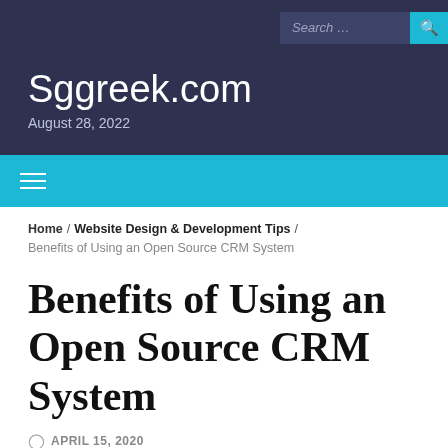Sggreek.com
August 28, 2022
Search ...
Home / Website Design & Development Tips / Benefits of Using an Open Source CRM System
Benefits of Using an Open Source CRM System
APRIL 15, 2020
DIGITAL MARKETING TIPS   WEBSITE DESIGN & DEVELOPMENT TIPS
OPEN SOURCE CRM SYSTEM   OPEN-SOURCE CRM